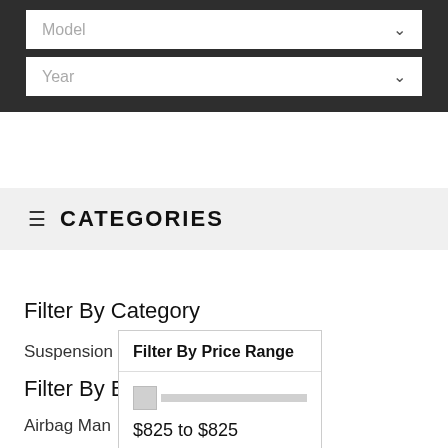Model
Year
≡ CATEGORIES
Filter By Category
Suspension
Air Bag Load Assist
Filter By Brand
Airbag Man
Filter By Price Range
$825 to $825
Filter Price